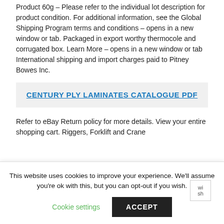Product 60g – Please refer to the individual lot description for product condition. For additional information, see the Global Shipping Program terms and conditions – opens in a new window or tab. Packaged in export worthy thermocole and corrugated box. Learn More – opens in a new window or tab International shipping and import charges paid to Pitney Bowes Inc.
CENTURY PLY LAMINATES CATALOGUE PDF
Refer to eBay Return policy for more details. View your entire shopping cart. Riggers, Forklift and Crane
This website uses cookies to improve your experience. We'll assume you're ok with this, but you can opt-out if you wish.
Cookie settings
ACCEPT